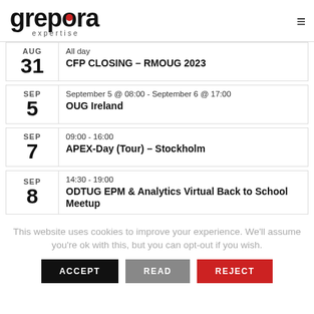grepora expertise
AUG 31 — All day — CFP CLOSING – RMOUG 2023
SEP 5 — September 5 @ 08:00 - September 6 @ 17:00 — OUG Ireland
SEP 7 — 09:00 - 16:00 — APEX-Day (Tour) – Stockholm
SEP 8 — 14:30 - 19:00 — ODTUG EPM & Analytics Virtual Back to School Meetup
This website uses cookies to improve your experience. We'll assume you're ok with this, but you can opt-out if you wish.
ACCEPT  READ  REJECT